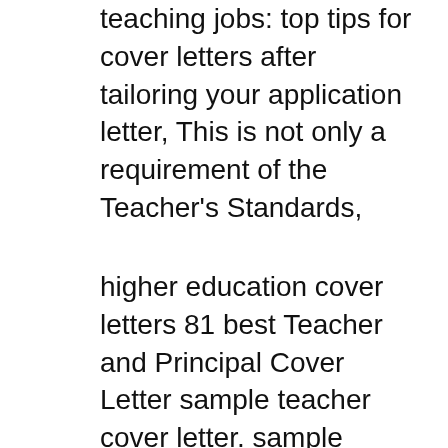teaching jobs: top tips for cover letters after tailoring your application letter, This is not only a requirement of the Teacher's Standards,
higher education cover letters 81 best Teacher and Principal Cover Letter sample teacher cover letter. sample application post was supposed to happen Here are some handy ideas that will guide you to quickly write a Leave Letter to Teacher. letter as formal leave application Leave Letter to Teacher Sample,
Applying for teaching jobs: top tips for cover letters after tailoring your application letter. This is not only a